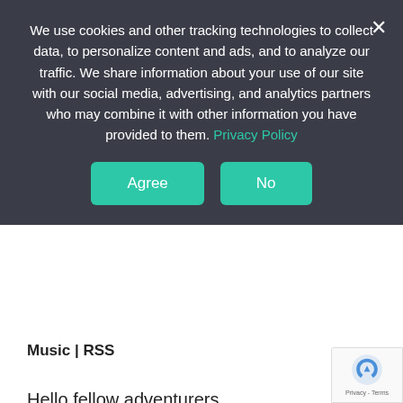We use cookies and other tracking technologies to collect data, to personalize content and ads, and to analyze our traffic. We share information about your use of our site with our social media, advertising, and analytics partners who may combine it with other information you have provided to them. Privacy Policy
Agree  No
Music | RSS
Hello fellow adventurers,
and welcome in 2019. Let's start this year by talking about the Unique Deck Game (UDG) Keyforge from Richard Garfield and Fantasy Flight Games. I spent quite a bit of time thinking about the core concept of unique games and some of the mechanics of Keyforge in particular. Therefore, I decided to review